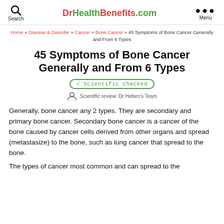DrHealthBenefits.com
Home » Disease & Disorder » Cancer » Bone Cancer » 45 Symptoms of Bone Cancer Generally and From 6 Types
45 Symptoms of Bone Cancer Generally and From 6 Types
√ Scientific Checked
Scientific review: Dr Heben's Team
Generally, bone cancer any 2 types. They are secondary and primary bone cancer. Secondary bone cancer is a cancer of the bone caused by cancer cells derived from other organs and spread (metastasize) to the bone, such as lung cancer that spread to the bone.
The types of cancer most common and can spread to the